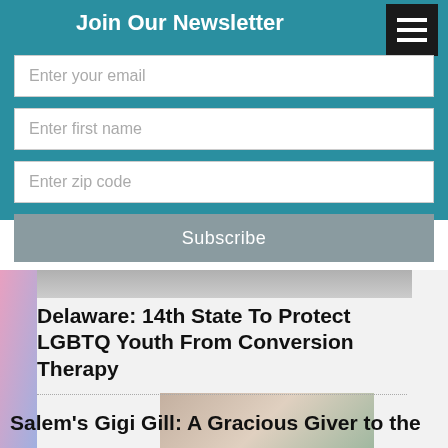Join Our Newsletter
Enter your email
Enter first name
Enter zip code
Subscribe
[Figure (photo): Partial image strip at top of article section]
Delaware: 14th State To Protect LGBTQ Youth From Conversion Therapy
[Figure (photo): Photo of Gigi Gill standing outdoors in front of a pavilion structure, wearing pink outfit]
Salem's Gigi Gill: A Gracious Giver to the